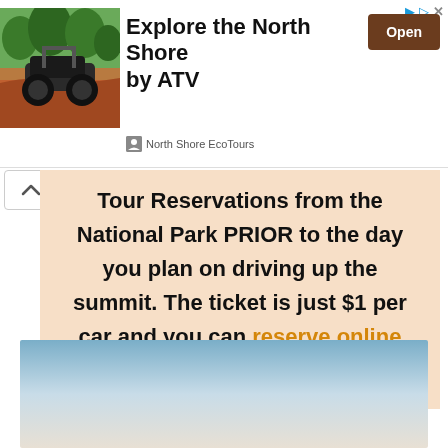[Figure (advertisement): Ad banner for North Shore EcoTours showing an ATV on red dirt terrain with 'Explore the North Shore by ATV' text and an Open button]
Tour Reservations from the National Park PRIOR to the day you plan on driving up the summit. The ticket is just $1 per car and you can reserve online HERE.
[Figure (photo): Outdoor landscape photo showing a sky gradient from blue to light/white near the horizon]